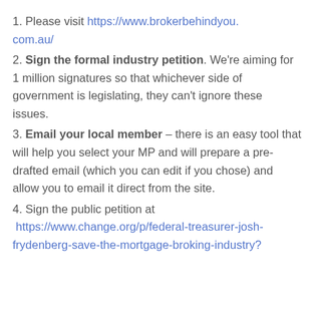1. Please visit https://www.brokerbehindyou.com.au/
2. Sign the formal industry petition. We're aiming for 1 million signatures so that whichever side of government is legislating, they can't ignore these issues.
3. Email your local member – there is an easy tool that will help you select your MP and will prepare a pre-drafted email (which you can edit if you chose) and allow you to email it direct from the site.
4. Sign the public petition at  https://www.change.org/p/federal-treasurer-josh-frydenberg-save-the-mortgage-broking-industry?